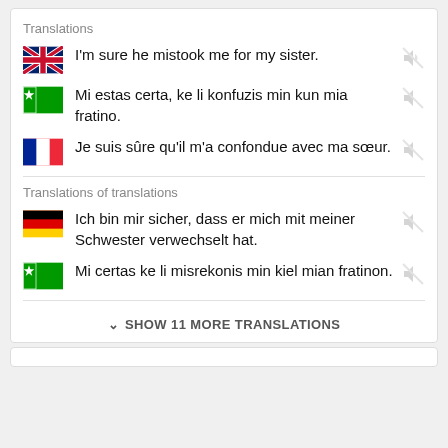Translations
I'm sure he mistook me for my sister.
Mi estas certa, ke li konfuzis min kun mia fratino.
Je suis sûre qu'il m'a confondue avec ma sœur.
Translations of translations
Ich bin mir sicher, dass er mich mit meiner Schwester verwechselt hat.
Mi certas ke li misrekonis min kiel mian fratinon.
SHOW 11 MORE TRANSLATIONS